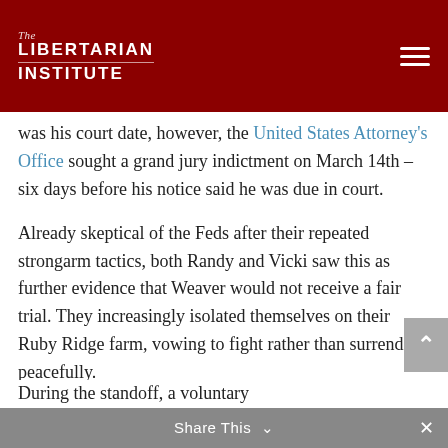The Libertarian Institute
was his court date, however, the United States Attorney's Office sought a grand jury indictment on March 14th – six days before his notice said he was due in court.
Already skeptical of the Feds after their repeated strongarm tactics, both Randy and Vicki saw this as further evidence that Weaver would not receive a fair trial. They increasingly isolated themselves on their Ruby Ridge farm, vowing to fight rather than surrender peacefully.
During the standoff, a voluntary
Share This ∨  ×